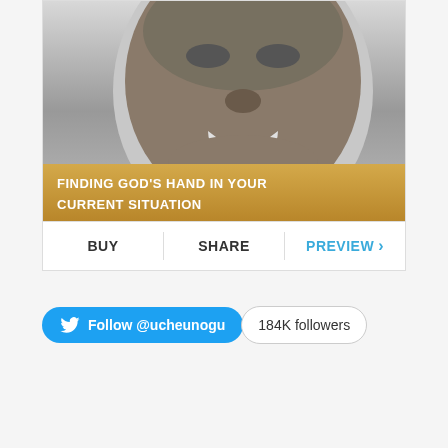[Figure (photo): Book cover showing a close-up black and white photo of a man's face smiling, with a gold banner at the bottom reading 'FINDING GOD'S HAND IN YOUR CURRENT SITUATION']
BUY | SHARE | PREVIEW ›
Follow @ucheunogu   184K followers